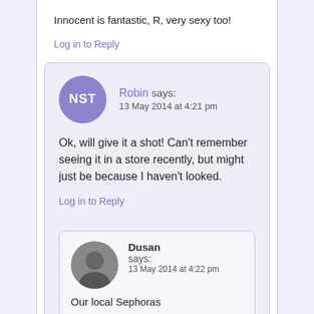Innocent is fantastic, R, very sexy too!
Log in to Reply
Robin says:
13 May 2014 at 4:21 pm
Ok, will give it a shot! Can't remember seeing it in a store recently, but might just be because I haven't looked.
Log in to Reply
Dusan says:
13 May 2014 at 4:22 pm
Our local Sephoras